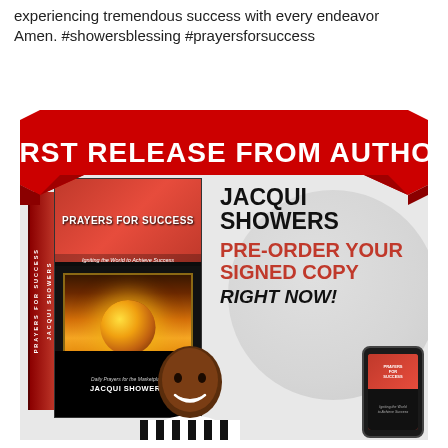experiencing tremendous success with every endeavor Amen. #showersblessing #prayersforsuccess
[Figure (infographic): Book promotion advertisement for 'Prayers for Success' by Jacqui Showers. Features a red ribbon banner reading 'FIRST RELEASE FROM AUTHOR', a 3D book cover image on the left, and text on the right reading 'JACQUI SHOWERS PRE-ORDER YOUR SIGNED COPY RIGHT NOW!'. A woman's photo appears at the bottom center, and a phone mockup is shown at bottom right.]